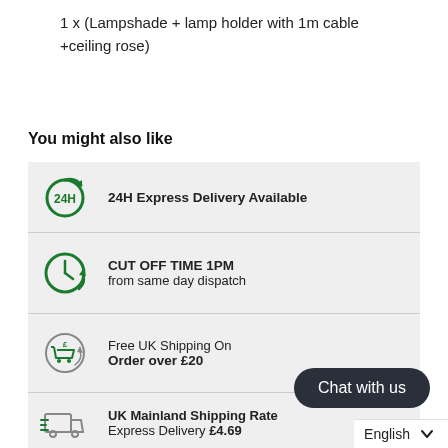1 x (Lampshade + lamp holder with 1m cable +ceiling rose)
You might also like
24H Express Delivery Available
CUT OFF TIME 1PM
from same day dispatch
Free UK Shipping On
Order over £20
UK Mainland Shipping Rate
Express Delivery £4.69